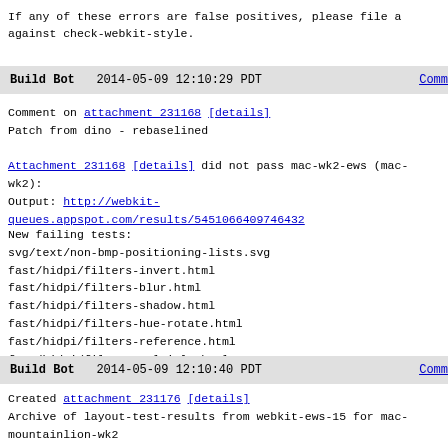If any of these errors are false positives, please file a against check-webkit-style.
Build Bot   2014-05-09 12:10:29 PDT   Comm
Comment on attachment 231168 [details]
Patch from dino - rebaselined
Attachment 231168 [details] did not pass mac-wk2-ews (mac-wk2):
Output: http://webkit-queues.appspot.com/results/5451066409746432
New failing tests:
svg/text/non-bmp-positioning-lists.svg
fast/hidpi/filters-invert.html
fast/hidpi/filters-blur.html
fast/hidpi/filters-shadow.html
fast/hidpi/filters-hue-rotate.html
fast/hidpi/filters-reference.html
fast/hidpi/filters-multiple.html
Build Bot   2014-05-09 12:10:40 PDT   Comm
Created attachment 231176 [details]
Archive of layout-test-results from webkit-ews-15 for mac-mountainlion-wk2